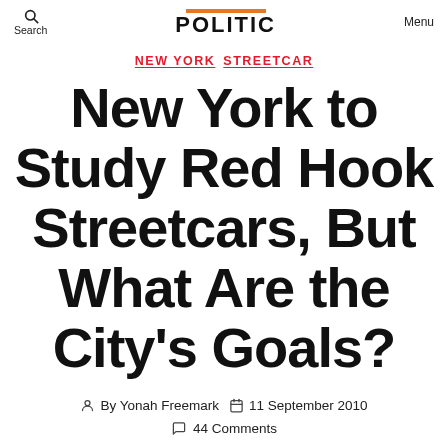Search  POLITIC  Menu
NEW YORK  STREETCAR
New York to Study Red Hook Streetcars, But What Are the City's Goals?
By Yonah Freemark  11 September 2010
44 Comments